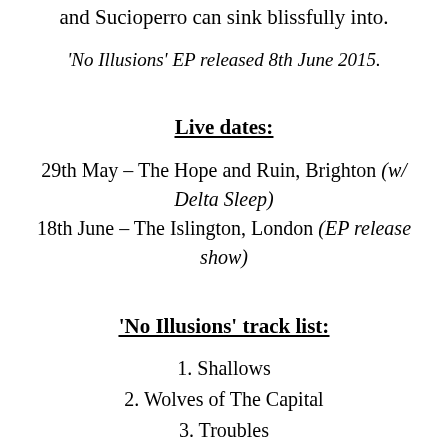and Sucioperro can sink blissfully into.
'No Illusions' EP released 8th June 2015.
Live dates:
29th May – The Hope and Ruin, Brighton (w/ Delta Sleep)
18th June – The Islington, London (EP release show)
'No Illusions' track list:
1. Shallows
2. Wolves of The Capital
3. Troubles
4. Honesty Breathes